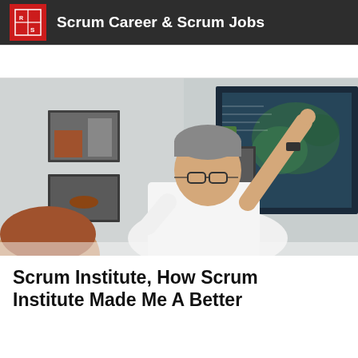Scrum Career & Scrum Jobs
[Figure (photo): A man with grey hair and glasses, wearing a white shirt, pointing at a large screen displaying a map/satellite image. Shelves with decorative objects are visible on the wall behind him. A person with brown hair is visible in the foreground.]
Scrum Institute, How Scrum Institute Made Me A Better